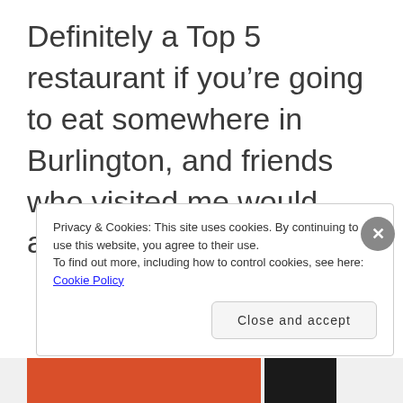Definitely a Top 5 restaurant if you're going to eat somewhere in Burlington, and friends who visited me would agree!
Privacy & Cookies: This site uses cookies. By continuing to use this website, you agree to their use.
To find out more, including how to control cookies, see here: Cookie Policy